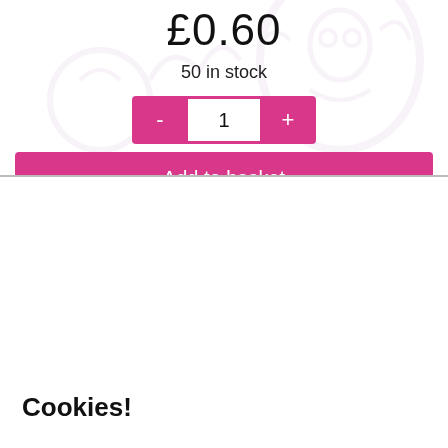£0.60
50 in stock
- 1 +
Add to basket
Cookies!
We use cookies so you can shop from this site. We also use cookies to enhance your experience and for analytics and marketing purposes. By clicking "Accept" below, you are agreeing to these cookies. To find out more about our cookies please click here.
Accept
Decline